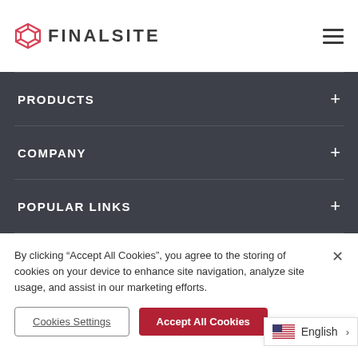FINALSITE
PRODUCTS
COMPANY
POPULAR LINKS
By clicking “Accept All Cookies”, you agree to the storing of cookies on your device to enhance site navigation, analyze site usage, and assist in our marketing efforts.
Cookies Settings
Accept All Cookies
English